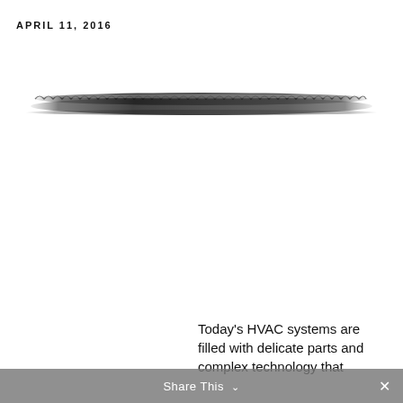APRIL 11, 2016
[Figure (photo): A wide, thin horizontal image of what appears to be a saw blade or similar serrated/toothed tool, shown in profile against a white background. The blade is dark/metallic and very thin, wider in the middle and tapering to both ends.]
Today’s HVAC systems are filled with delicate parts and complex technology that
Share This ∨ ×